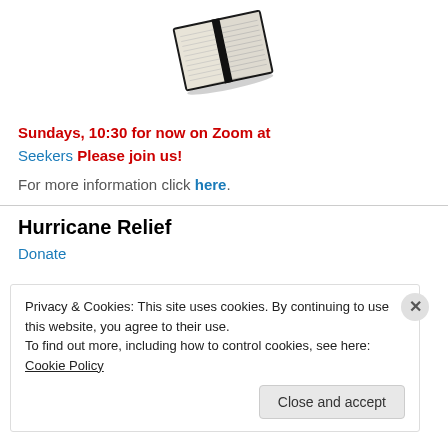[Figure (photo): Open Bible book viewed from above at a slight angle, black cover, white pages]
Sundays, 10:30 for now on Zoom at
Seekers Please join us!
For more information click here.
Hurricane Relief
Donate
Privacy & Cookies: This site uses cookies. By continuing to use this website, you agree to their use.
To find out more, including how to control cookies, see here: Cookie Policy
Close and accept